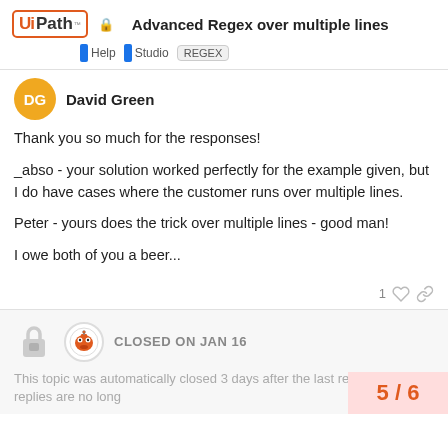Advanced Regex over multiple lines — UiPath Forum, Help, Studio, REGEX
David Green
Thank you so much for the responses!
_abso - your solution worked perfectly for the example given, but I do have cases where the customer runs over multiple lines.
Peter - yours does the trick over multiple lines - good man!
I owe both of you a beer...
1 like
CLOSED ON JAN 16
This topic was automatically closed 3 days after the last reply. New replies are no long
5 / 6